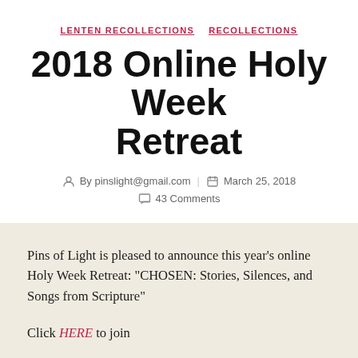LENTEN RECOLLECTIONS   RECOLLECTIONS
2018 Online Holy Week Retreat
By pinslight@gmail.com   March 25, 2018   43 Comments
Pins of Light is pleased to announce this year's online Holy Week Retreat: “CHOSEN: Stories, Silences, and Songs from Scripture”
Click HERE to join